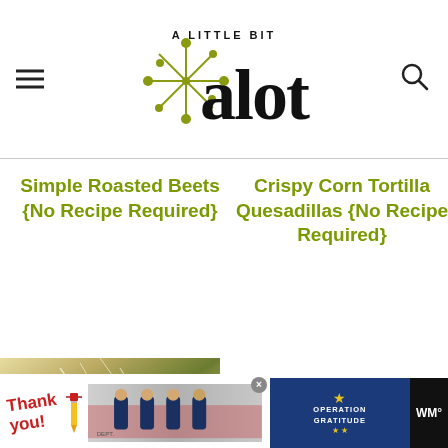[Figure (logo): A Little Bit a lot blog logo with starburst graphic and bold 'alot' text]
Simple Roasted Beets {No Recipe Required}
Crispy Corn Tortilla Quesadillas {No Recipe Required}
[Figure (photo): Close-up of a salad dish with shredded parmesan cheese, greens, corn and vegetables]
[Figure (photo): Close-up of a colorful dish with nuts, seeds, berries and sauce]
[Figure (other): Advertisement banner: Thank You with Operation Gratitude featuring firefighters]